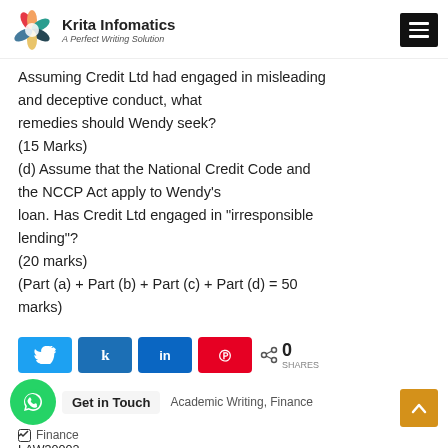Krita Infomatics — A Perfect Writing Solution
Assuming Credit Ltd had engaged in misleading and deceptive conduct, what remedies should Wendy seek?
(15 Marks)
(d) Assume that the National Credit Code and the NCCP Act apply to Wendy's loan. Has Credit Ltd engaged in “irresponsible lending”?
(20 marks)
(Part (a) + Part (b) + Part (c) + Part (d) = 50 marks)
Academic Writing, Finance | Finance | LAW30002